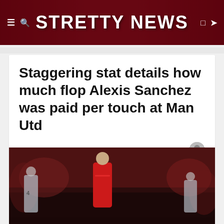STRETTY NEWS
Staggering stat details how much flop Alexis Sanchez was paid per touch at Man Utd
NEWS
Posted 2 years ago by Ben Parsons
Follow @_benparsons
[Figure (photo): Alexis Sanchez in Manchester United red kit, looking downcast on the pitch, with opposition players in light blue/grey kits visible in the background at Old Trafford]